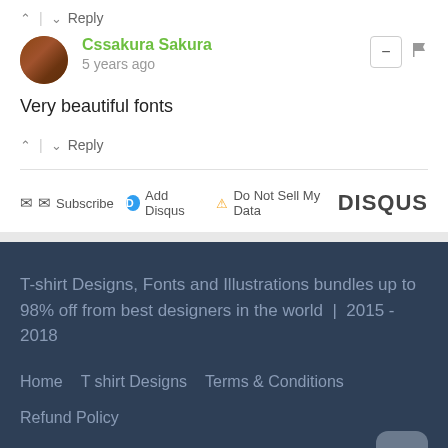^ | v Reply
Cssakura Sakura
5 years ago
Very beautiful fonts
^ | v Reply
Subscribe  Add Disqus  Do Not Sell My Data  DISQUS
T-shirt Designs, Fonts and Illustrations bundles up to 98% off from best designers in the world  |  2015 - 2018
Home   T shirt Designs   Terms & Conditions   Refund Policy
This Bundle is Expired